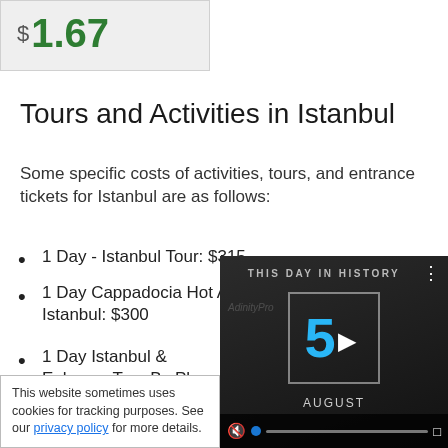[Figure (other): Price tag showing $1.67 in green bold text on grey background]
Tours and Activities in Istanbul
Some specific costs of activities, tours, and entrance tickets for Istanbul are as follows:
1 Day - Istanbul Tour: $315
1 Day Cappadocia Hot Air Balloon Tour From Istanbul: $300
1 Day Istanbul & Ephesus Tour By Plane - YK230: $419
1 Day Regular
This website sometimes uses cookies for tracking purposes. See our privacy policy for more details.
[Figure (screenshot): Video overlay showing 'THIS DAY IN HISTORY' with number 5 and AUGUST text, video controls at bottom]